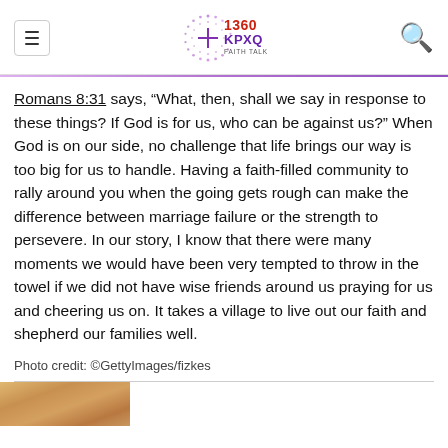1360 KPXQ FAITH TALK
Romans 8:31 says, “What, then, shall we say in response to these things? If God is for us, who can be against us?” When God is on our side, no challenge that life brings our way is too big for us to handle. Having a faith-filled community to rally around you when the going gets rough can make the difference between marriage failure or the strength to persevere. In our story, I know that there were many moments we would have been very tempted to throw in the towel if we did not have wise friends around us praying for us and cheering us on. It takes a village to live out our faith and shepherd our families well.
Photo credit: ©GettyImages/fizkes
[Figure (photo): Partial thumbnail of a person at the bottom of the page]